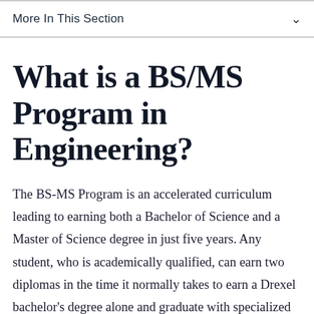More In This Section
What is a BS/MS Program in Engineering?
The BS-MS Program is an accelerated curriculum leading to earning both a Bachelor of Science and a Master of Science degree in just five years. Any student, who is academically qualified, can earn two diplomas in the time it normally takes to earn a Drexel bachelor's degree alone and graduate with specialized knowledge and